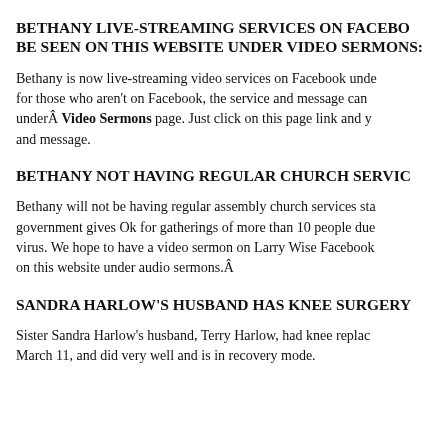BETHANY LIVE-STREAMING SERVICES ON FACEBOOK CAN ALSO BE SEEN ON THIS WEBSITE UNDER VIDEO SERMONS:
Bethany is now live-streaming video services on Facebook under... for those who aren't on Facebook, the service and message can also be seen under  Video Sermons page. Just click on this page link and you can view the service and message.
BETHANY NOT HAVING REGULAR CHURCH SERVICES
Bethany will not be having regular assembly church services starting... government gives Ok for gatherings of more than 10 people due to the corona virus. We hope to have a video sermon on Larry Wise Facebook... on this website under audio sermons.
SANDRA HARLOW'S HUSBAND HAS KNEE SURGERY
Sister Sandra Harlow's husband, Terry Harlow, had knee replacement surgery on March 11, and did very well and is in recovery mode.